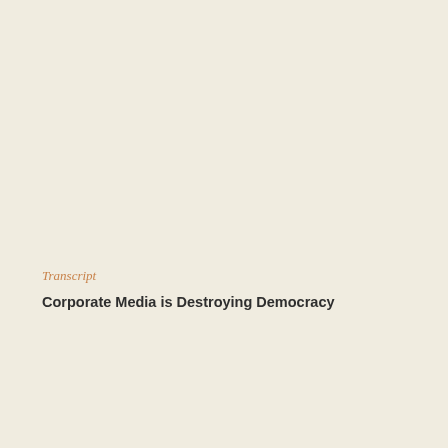Transcript
Corporate Media is Destroying Democracy